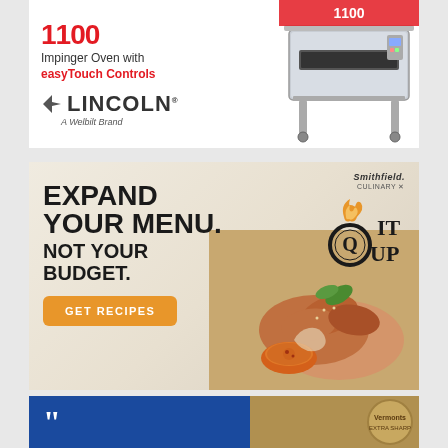[Figure (advertisement): Lincoln brand advertisement showing model 1100 Impinger Oven with easyTouch Controls. Red and white text on left with Lincoln logo (A Welbilt Brand). Commercial oven image on right.]
[Figure (advertisement): Smithfield Culinary advertisement. Textured beige background. Bold black text: EXPAND YOUR MENU. NOT YOUR BUDGET. Orange button: GET RECIPES. Q-it-Up logo with flame icon top right. Food photo showing fried rolls with dipping sauce on right side.]
[Figure (advertisement): Partial advertisement at bottom. Blue background on left side with large quotation marks. Brown/gold background on right with Vermonts logo partially visible.]